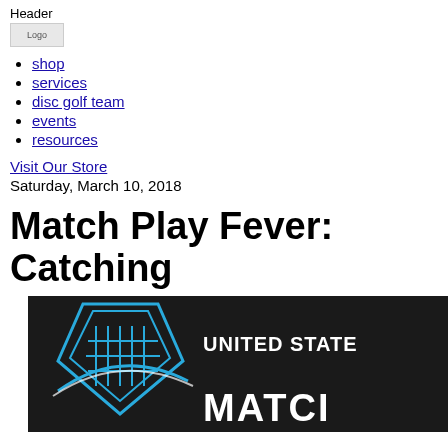Header
[Figure (logo): Logo image placeholder]
shop
services
disc golf team
events
resources
Visit Our Store
Saturday, March 10, 2018
Match Play Fever: Catching
[Figure (illustration): United States Match Play disc golf promotional image with shield/disc golf logo on dark background]